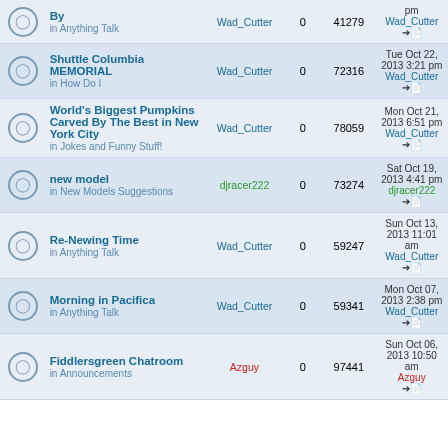|  | Topic | Author | Replies | Views | Last Post |
| --- | --- | --- | --- | --- | --- |
|  | Shuttle Columbia MEMORIAL
in How Do I | Wad_Cutter | 0 | 72316 | Tue Oct 22, 2013 3:21 pm
Wad_Cutter |
|  | World's Biggest Pumpkins Carved By The Best in New York City
in Jokes and Funny Stuff! | Wad_Cutter | 0 | 78059 | Mon Oct 21, 2013 6:51 pm
Wad_Cutter |
|  | new model
in New Models Suggestions | djracer222 | 0 | 73274 | Sat Oct 19, 2013 4:41 pm
djracer222 |
|  | Re-Newing Time
in Anything Talk | Wad_Cutter | 0 | 59247 | Sun Oct 13, 2013 11:01 am
Wad_Cutter |
|  | Morning in Pacifica
in Anything Talk | Wad_Cutter | 0 | 59341 | Mon Oct 07, 2013 2:38 pm
Wad_Cutter |
|  | Fiddlersgreen Chatroom
in Announcements | Azguy | 0 | 97441 | Sun Oct 06, 2013 10:50 am
Azguy |